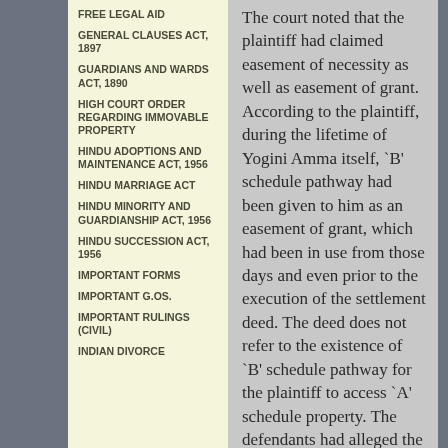FREE LEGAL AID
GENERAL CLAUSES ACT, 1897
GUARDIANS AND WARDS ACT, 1890
HIGH COURT ORDER REGARDING IMMOVABLE PROPERTY
HINDU ADOPTIONS AND MAINTENANCE ACT, 1956
HINDU MARRIAGE ACT
HINDU MINORITY AND GUARDIANSHIP ACT, 1956
HINDU SUCCESSION ACT, 1956
IMPORTANT FORMS
IMPORTANT G.Os.
IMPORTANT RULINGS (CIVIL)
INDIAN DIVORCE
The court noted that the plaintiff had claimed easement of necessity as well as easement of grant. According to the plaintiff, during the lifetime of Yogini Amma itself, `B' schedule pathway had been given to him as an easement of grant, which had been in use from those days and even prior to the execution of the settlement deed. The deed does not refer to the existence of `B' schedule pathway for the plaintiff to access `A' schedule property. The defendants had alleged the existence of two alternative pathways